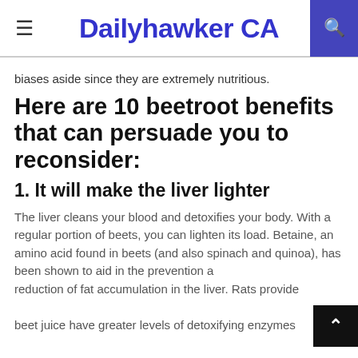☰  Dailyhawker CA  🔍
biases aside since they are extremely nutritious.
Here are 10 beetroot benefits that can persuade you to reconsider:
1. It will make the liver lighter
The liver cleans your blood and detoxifies your body. With a regular portion of beets, you can lighten its load. Betaine, an amino acid found in beets (and also spinach and quinoa), has been shown to aid in the prevention and reduction of fat accumulation in the liver. Rats provided beet juice have greater levels of detoxifying enzymes